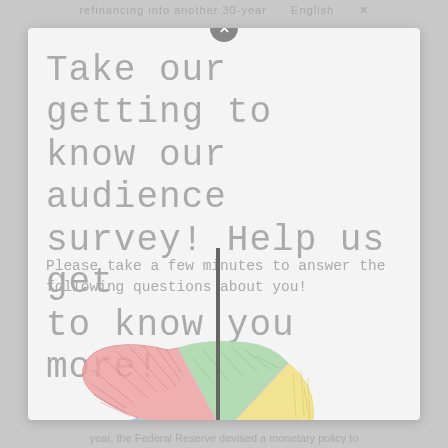refinancing into another 30-year  English
Take our getting to know our audience survey! Help us get to know you more!
Please take a few minutes to answer the following questions about you!
[Figure (pie-chart): A hand-drawn style pie chart with 5 segments: red/pink (large, left), green (top center), yellow (top right), orange (right), blue (large, bottom right), and a scattered dots segment (bottom left). The chart appears illustrative without labeled values.]
year, the Federal Reserve devised a monetary policy to